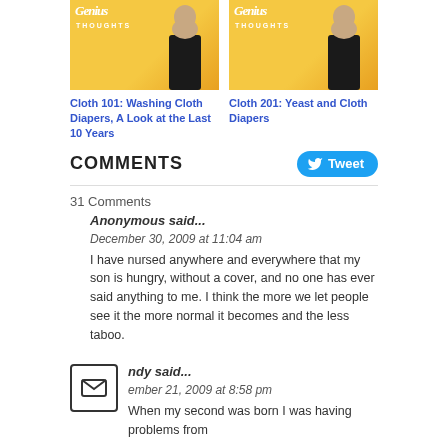[Figure (photo): Thumbnail image for article 'Cloth 101: Washing Cloth Diapers, A Look at the Last 10 Years' - yellow background with script 'Genius Thoughts' logo and woman in black jacket]
Cloth 101: Washing Cloth Diapers, A Look at the Last 10 Years
[Figure (photo): Thumbnail image for article 'Cloth 201: Yeast and Cloth Diapers' - yellow background with script 'Genius Thoughts' logo and woman in black jacket]
Cloth 201: Yeast and Cloth Diapers
COMMENTS
Tweet
31 Comments
Anonymous said...
December 30, 2009 at 11:04 am
I have nursed anywhere and everywhere that my son is hungry, without a cover, and no one has ever said anything to me. I think the more we let people see it the more normal it becomes and the less taboo.
ndy said...
ember 21, 2009 at 8:58 pm
When my second was born I was having problems from